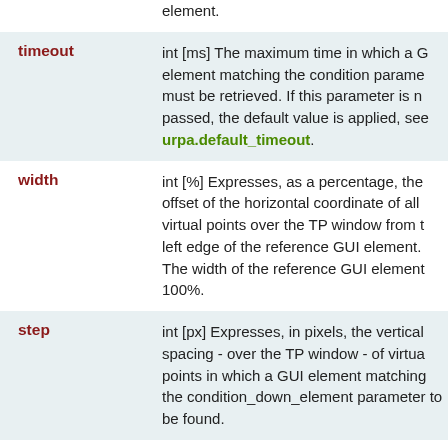| Parameter | Description |
| --- | --- |
|  | element. |
| timeout | int [ms] The maximum time in which a GUI element matching the condition parameter must be retrieved. If this parameter is not passed, the default value is applied, see urpa.default_timeout. |
| width | int [%] Expresses, as a percentage, the offset of the horizontal coordinate of all virtual points over the TP window from the left edge of the reference GUI element. The width of the reference GUI element is 100%. |
| step | int [px] Expresses, in pixels, the vertical spacing - over the TP window - of virtual points in which a GUI element matching the condition_down_element parameter is to be found. |